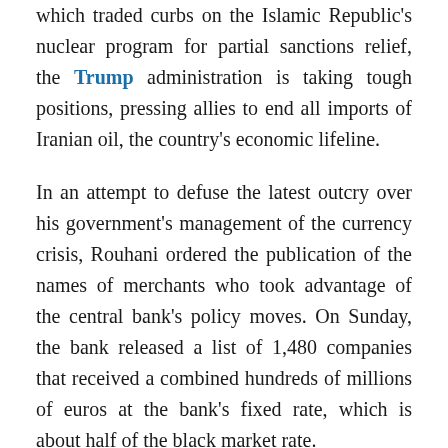which traded curbs on the Islamic Republic's nuclear program for partial sanctions relief, the Trump administration is taking tough positions, pressing allies to end all imports of Iranian oil, the country's economic lifeline.
In an attempt to defuse the latest outcry over his government's management of the currency crisis, Rouhani ordered the publication of the names of merchants who took advantage of the central bank's policy moves. On Sunday, the bank released a list of 1,480 companies that received a combined hundreds of millions of euros at the bank's fixed rate, which is about half of the black market rate.
“We have to tell the people who we’ve given currency to, at what price and for what goods,” Rouhani said Wednesday in a speech aired on